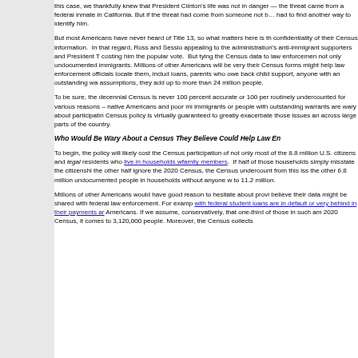this case, we thankfully knew that President Clinton's life was not in danger — the threat came from a federal inmate in California. But if the threat had come from someone not being monitored, the Secret Service had to find another way to identify him.
But most Americans have never heard of Title 13, so what matters here is that many will worry about the confidentiality of their Census information. In that regard, Ross and Sessions seem bent on appealing to the administration's anti-immigrant supporters and President Trump, even at the cost of costing him the popular vote. But tying the Census data to law enforcement will scare many people — not only undocumented immigrants. Millions of other Americans will be very wary if they believe that their Census forms might help law enforcement officials locate them, including people with delinquent loans, parents who owe back child support, anyone with an outstanding warrant — and under reasonable assumptions, they add up to more than 24 million people.
To be sure, the decennial Census is never 100 percent accurate or 100 percent complete. Groups are routinely undercounted for various reasons – native Americans and poor minorities, recent immigrants or people with outstanding warrants are wary about participating. But this new Census policy is virtually guaranteed to greatly exacerbate those issues and spread the undercount across large parts of the country.
Who Would Be Wary About a Census They Believe Could Help Law En
To begin, the policy will likely cost the Census participation of not only most undocumented immigrants, of the 8.8 million U.S. citizens and legal residents who live in households with undocumented family members. If half of those households simply misstate the citizenship question on their form and the other half ignore the 2020 Census, the Census undercount from this issue alone would include the other 6.8 million undocumented people in households without anyone with legal status, or a total up to 11.2 million.
Millions of other Americans would have good reason to hesitate about providing their information if they believe their data might be shared with federal law enforcement. For example, about 8 million people with federal student loans are in default or very behind in their payments and risk federal collections actions. Americans. If we assume, conservatively, that one-third of those in such arrears would skip the 2020 Census, it comes to 3,120,000 people. Moreover, the Census collects